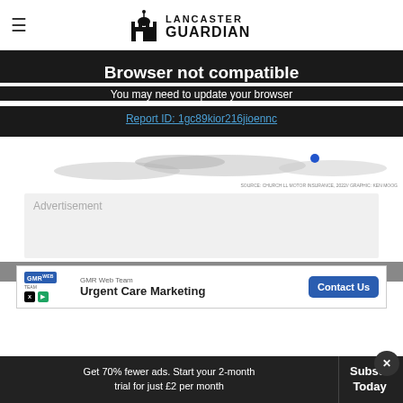Lancaster Guardian
Browser not compatible
You may need to update your browser
Report ID: 1gc89kior216jioennc
[Figure (map): Partial map graphic]
SOURCE: CHURCH LL MOTOR INSURANCE, 2022// GRAPHIC: KEN MOOG
Advertisement
GMR Web Team
Urgent Care Marketing
Contact Us
Get 70% fewer ads. Start your 2-month trial for just £2 per month
Subscribe Today